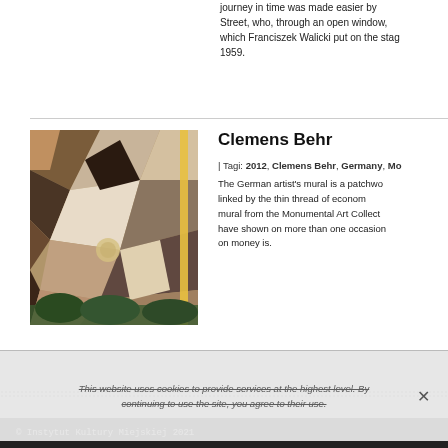journey in time was made easier by Street, who, through an open window, which Franciszek Walicki put on the stage 1959.
[Figure (photo): Photo of the Clemens Behr mural — a patchwork of geometric shapes in earth tones, browns, beiges, blacks and whites, resembling a cubist composition on a building wall.]
Clemens Behr
| Tagi: 2012, Clemens Behr, Germany, Mo...
The German artist's mural is a patchwork linked by the thin thread of economy mural from the Monumental Art Collect have shown on more than one occasion on money is.
This website uses cookies to provide services at the highest level. By continuing to use the site, you agree to their use.
© Instytut Kultury Miejskiej 2021